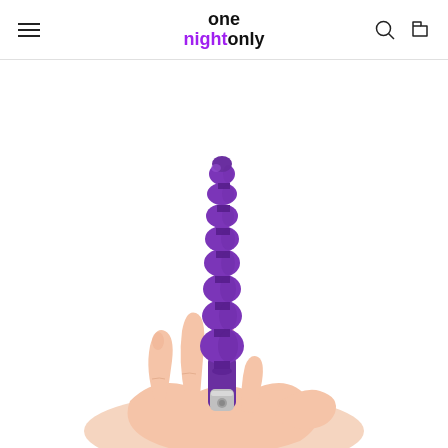one night only — navigation header with hamburger menu, logo, search and cart icons
[Figure (photo): A purple silicone beaded vibrator with multiple graduated beads along its length and a silver bullet vibrator base, held in the palm of a hand against a white background.]